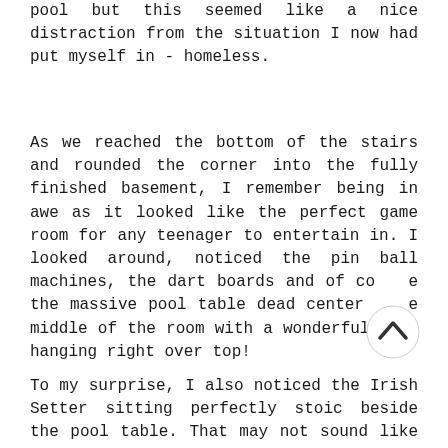pool but this seemed like a nice distraction from the situation I now had put myself in - homeless.
As we reached the bottom of the stairs and rounded the corner into the fully finished basement, I remember being in awe as it looked like the perfect game room for any teenager to entertain in. I looked around, noticed the pin ball machines, the dart boards and of course the massive pool table dead center the middle of the room with a wonderful lamp hanging right over top!
To my surprise, I also noticed the Irish Setter sitting perfectly stoic beside the pool table. That may not sound like a big
[Figure (other): A circular scroll-up button with an upward-pointing chevron/caret icon, overlaid on the text content]